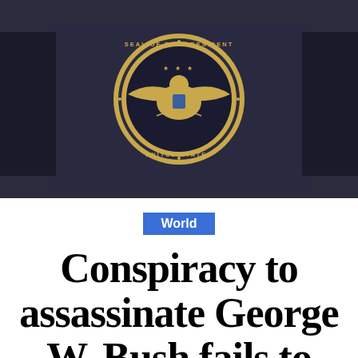[Figure (photo): Photo showing a dark navy/blue lectern with the Presidential Seal of the United States (gold eagle emblem) mounted on it, with partial view of hands on either side. The seal reads 'SEAL OF THE PRESIDENT OF THE UNITED STATES'.]
World
Conspiracy to assassinate George W. Bush fails to avenge